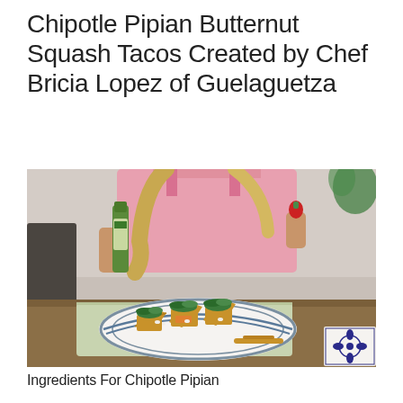Chipotle Pipian Butternut Squash Tacos Created by Chef Bricia Lopez of Guelaguetza
[Figure (photo): A woman in a pink crop top holding a bottle of hot sauce in one hand and a small red chili in the other, seated at a wooden table with a plate of three chipotle pipian butternut squash tacos garnished with greens and cheese, placed on a green woven placemat. A decorative blue-and-white tile is visible in the bottom right corner.]
Ingredients For Chipotle Pipian